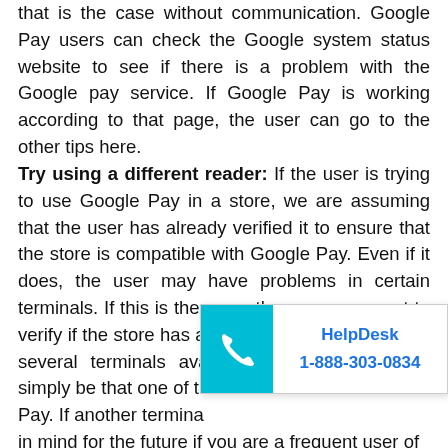that is the case without communication. Google Pay users can check the Google system status website to see if there is a problem with the Google pay service. If Google Pay is working according to that page, the user can go to the other tips here. Try using a different reader: If the user is trying to use Google Pay in a store, we are assuming that the user has already verified it to ensure that the store is compatible with Google Pay. Even if it does, the user may have problems in certain terminals. If this is the case, the user may want to verify if the store has another terminal. If there are several terminals available, try them. It could simply be that one of the terminals d... Pay. If another termina... in mind for the future if you are a frequent user of
[Figure (infographic): HelpDesk popup with teal phone icon on the left and bold blue text 'HelpDesk' and '1-888-303-0834' on the right]